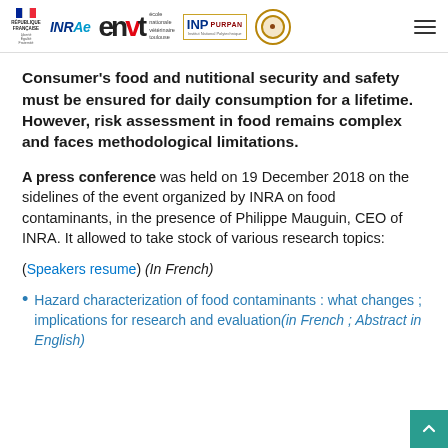Logos: République Française, INRAE, envt (École Nationale Vétérinaire Toulouse), INP PURPAN, circular logo, hamburger menu
Consumer's food and nutitional security and safety must be ensured for daily consumption for a lifetime. However, risk assessment in food remains complex and faces methodological limitations.
A press conference was held on 19 December 2018 on the sidelines of the event organized by INRA on food contaminants, in the presence of Philippe Mauguin, CEO of INRA. It allowed to take stock of various research topics:
(Speakers resume) (In French)
Hazard characterization of food contaminants : what changes ; implications for research and evaluation (in French ; Abstract in English)